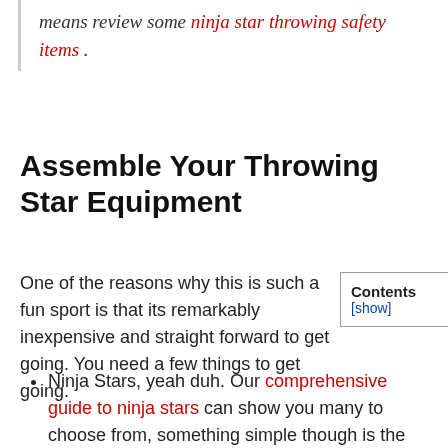means review some ninja star throwing safety items .
Assemble Your Throwing Star Equipment
One of the reasons why this is such a fun sport is that its remarkably inexpensive and straight forward to get going. You need a few things to get going.
Contents [show]
Ninja Stars, yeah duh. Our comprehensive guide to ninja stars can show you many to choose from, something simple though is the best place to start such as the Cold Steel Medium Sure Strike